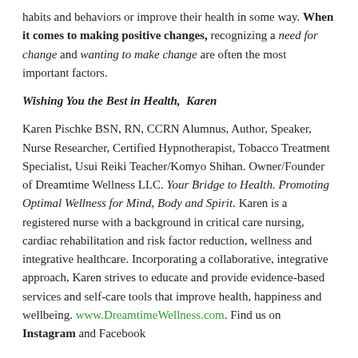habits and behaviors or improve their health in some way. When it comes to making positive changes, recognizing a need for change and wanting to make change are often the most important factors.
Wishing You the Best in Health,  Karen
Karen Pischke BSN, RN, CCRN Alumnus, Author, Speaker, Nurse Researcher, Certified Hypnotherapist, Tobacco Treatment Specialist, Usui Reiki Teacher/Komyo Shihan. Owner/Founder of Dreamtime Wellness LLC. Your Bridge to Health. Promoting Optimal Wellness for Mind, Body and Spirit. Karen is a registered nurse with a background in critical care nursing, cardiac rehabilitation and risk factor reduction, wellness and integrative healthcare. Incorporating a collaborative, integrative approach, Karen strives to educate and provide evidence-based services and self-care tools that improve health, happiness and wellbeing. www.DreamtimeWellness.com. Find us on Instagram and Facebook